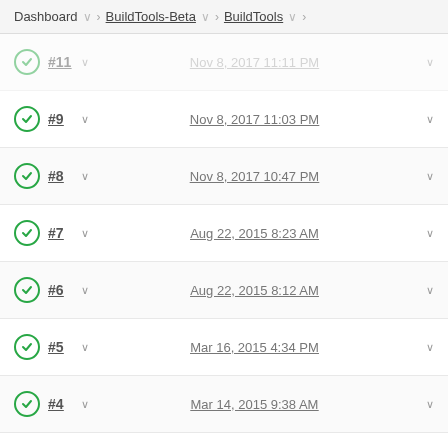Dashboard > BuildTools-Beta > BuildTools >
#11 (partial, date partially visible)
#9  Nov 8, 2017 11:03 PM
#8  Nov 8, 2017 10:47 PM
#7  Aug 22, 2015 8:23 AM
#6  Aug 22, 2015 8:12 AM
#5  Mar 16, 2015 4:34 PM
#4  Mar 14, 2015 9:38 AM
#3  Mar 14, 2015 2:51 AM
Atom feed for all   Atom feed for failures
Changes